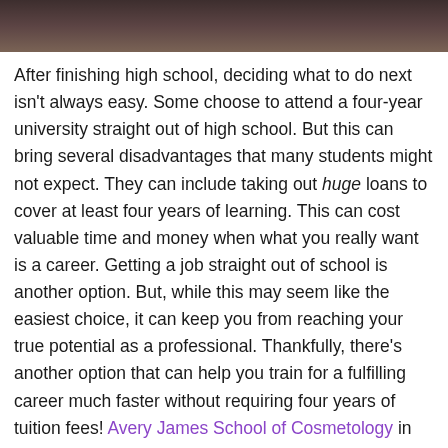[Figure (photo): Top portion of a photo showing a person, cropped — only the top of the image is visible as a dark strip.]
After finishing high school, deciding what to do next isn't always easy. Some choose to attend a four-year university straight out of high school. But this can bring several disadvantages that many students might not expect. They can include taking out huge loans to cover at least four years of learning. This can cost valuable time and money when what you really want is a career. Getting a job straight out of school is another option. But, while this may seem like the easiest choice, it can keep you from reaching your true potential as a professional. Thankfully, there's another option that can help you train for a fulfilling career much faster without requiring four years of tuition fees! Avery James School of Cosmetology in Lake Charles prepares students for the cosmetology license exam, training them to start an exciting new career! Learn how our cosmetology program could improve your professional future.